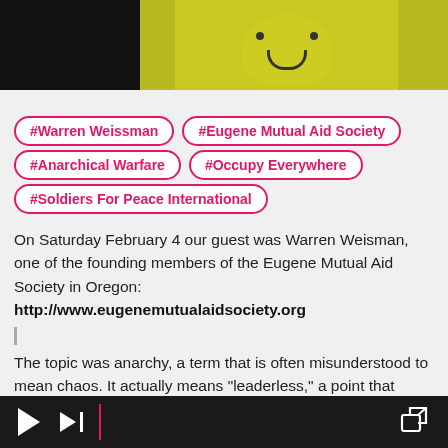[Figure (photo): Top portion of a yellow smiley face helmet against dark background]
#Warren Weissman
#Eugene Mutual Aid Society
#Anarchical Warfare
#Occupy Everywhere
#Soldiers For Peace International
On Saturday February 4 our guest was Warren Weisman, one of the founding members of the Eugene Mutual Aid Society in Oregon: http://www.eugenemutualaidsociety.org
The topic was anarchy, a term that is often misunderstood to mean chaos. It actually means "leaderless," a point that needs to be understood to recognize the value of anarchical efforts like Occupy and Soldiers For Peace International. Anarchy is nothing
Media player controls: play, skip, share